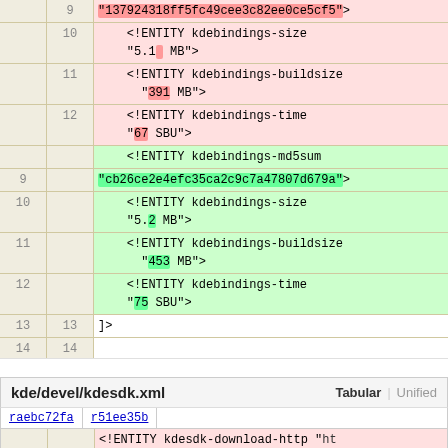[Figure (screenshot): Code diff view showing two versions of kdebindings XML entity declarations. Red (deleted) section shows md5sum 137924318ff5fc49cee3c82ee0ce5cf5 with size 5.1 MB, buildsize 391 MB, time 67 SBU. Green (inserted) section shows md5sum cb26ce2e4efc35ca2c9c7a47807d679a with size 5.2 MB, buildsize 453 MB, time 75 SBU. Lines 13-14 show ]> closing tag.]
kde/devel/kdesdk.xml   Tabular   Unified
raebc72fa   r51ee35b
<!ENTITY kdesdk-download-http